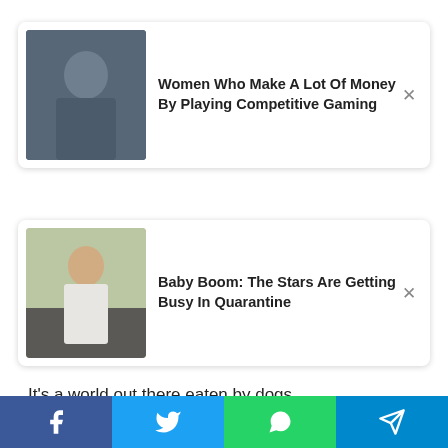[Figure (screenshot): Ad card 1: thumbnail of a woman and title 'Women Who Make A Lot Of Money By Playing Competitive Gaming' with close button]
[Figure (screenshot): Ad card 2: thumbnail of a woman on phone outdoors and title 'Baby Boom: The Stars Are Getting Busy In Quarantine' with close button]
It's a world out there eaten by dogs.
A boisterous rodent found its way into the midst of a fido frenzy and wreaked havoc at Manhattan's Tompkins Square Dog Run.
As captured in a now viral video posted on TwitterTheir owners desperately tried to contain their canines, which quickly chased, surrounded and chewed on the rat.
[Figure (infographic): Social sharing bar with Facebook, Twitter, WhatsApp, and Telegram buttons]